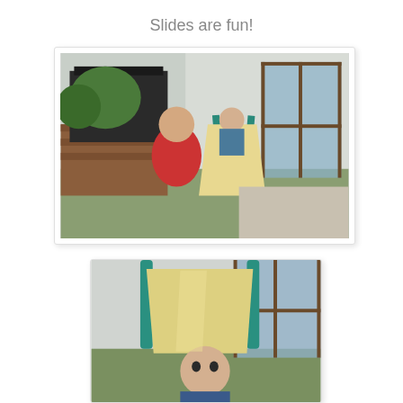Slides are fun!
[Figure (photo): An adult in a red sweatshirt crouching beside a small child sitting at the top of a plastic toddler slide in a backyard. A covered grill and brick wall are visible in the background, along with a sliding glass door.]
[Figure (photo): Close-up view of a baby/toddler sitting at the bottom of a small teal and yellow plastic slide, looking directly at the camera. A sliding glass door is visible in the background.]